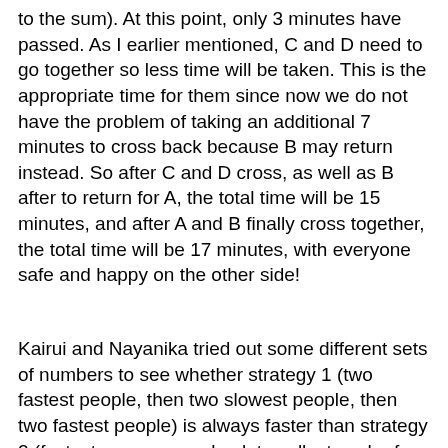to the sum). At this point, only 3 minutes have passed. As I earlier mentioned, C and D need to go together so less time will be taken. This is the appropriate time for them since now we do not have the problem of taking an additional 7 minutes to cross back because B may return instead. So after C and D cross, as well as B after to return for A, the total time will be 15 minutes, and after A and B finally cross together, the total time will be 17 minutes, with everyone safe and happy on the other side!
Kairui and Nayanika tried out some different sets of numbers to see whether strategy 1 (two fastest people, then two slowest people, then two fastest people) is always faster than strategy 2 (fastest person goes back to collect each of the other people). Kairui wrote:
Random number testing:
1,2,7,10      strategy 1 works the fastest
2,3,5,8       strategy 1 works the fastest
2,2,2,3       strategy 1 works the fastest  (the strategies take the same amount of time)
1, 97, 10, 980     strategy 1 works the fastest
3,9,9,9     strategy 1 works not the fastest / but the strategy 2